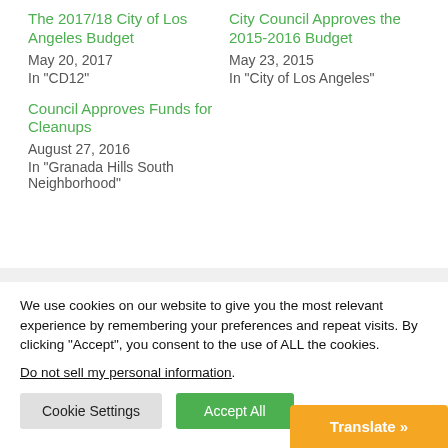The 2017/18 City of Los Angeles Budget
May 20, 2017
In "CD12"
City Council Approves the 2015-2016 Budget
May 23, 2015
In "City of Los Angeles"
Council Approves Funds for Cleanups
August 27, 2016
In "Granada Hills South Neighborhood"
We use cookies on our website to give you the most relevant experience by remembering your preferences and repeat visits. By clicking “Accept”, you consent to the use of ALL the cookies.
Do not sell my personal information.
Cookie Settings
Accept All
Translate »